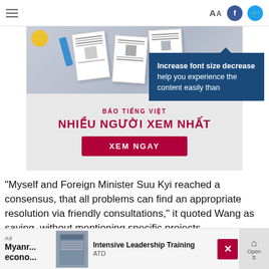Aa [Facebook] [Twitter]
[Figure (infographic): Vietnamese news website advertisement banner with newspaper imagery, text 'BAO TIENG VIET NHIEU NGUOI XEM NHAT' and a red 'XEM NGAY' button]
Increase font size decrease help you experience the content easily than
"Myself and Foreign Minister Suu Kyi reached a consensus, that all problems can find an appropriate resolution via friendly consultations," it quoted Wang as saying, without mentioning specific projects.
Myanr... econo...
[Figure (infographic): Bottom advertisement: Intensive Leadership Training ATD with book image, close button and home icon]